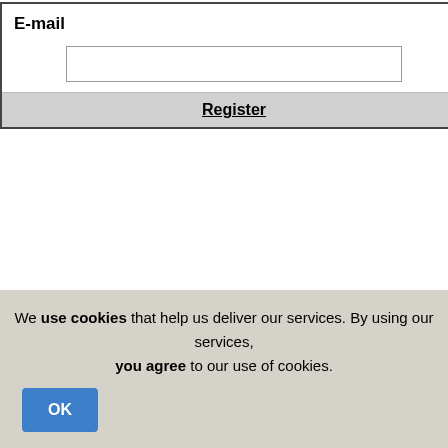E-mail
Register
increasing number of mini buses that can ac... way to get around but it is advisable that yo... buses are set to a fixed price by the govern... meter and make the price up as they go alon...
There are a large number of companies tha... offer jeep safaris to parts of the island that ar... mini bus is always an option if there is a gro... organised coach trip.
One of the best ways in which to see a lot of... scale is to hire a car. Road signs and dire... Cyprus almost stress free. A great advantage... that you collect the car at the airport and retu... airport to your accommodation.
The choice on how best to travel around the... car hire, taxi, minibus or the STOP and GO C...
The option to use Larnaca Map to assist in y... offering the right service for you is yours and...
We use cookies that help us deliver our services. By using our services, you agree to our use of cookies.